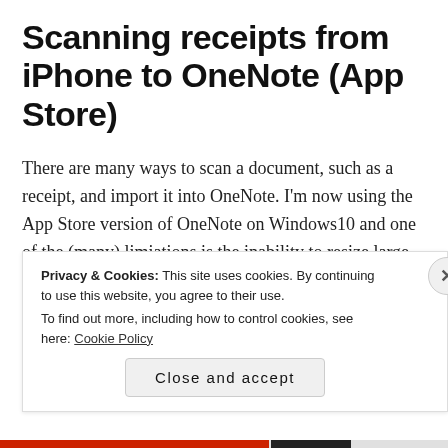Scanning receipts from iPhone to OneNote (App Store)
There are many ways to scan a document, such as a receipt, and import it into OneNote. I'm now using the App Store version of OneNote on Windows10 and one of the (many) limiations is the inability to resize large images without having to cut them out, edit, and paste back in.
I've tried a bunch of scanning apps on the iPhone and one
Privacy & Cookies: This site uses cookies. By continuing to use this website, you agree to their use. To find out more, including how to control cookies, see here: Cookie Policy
Close and accept